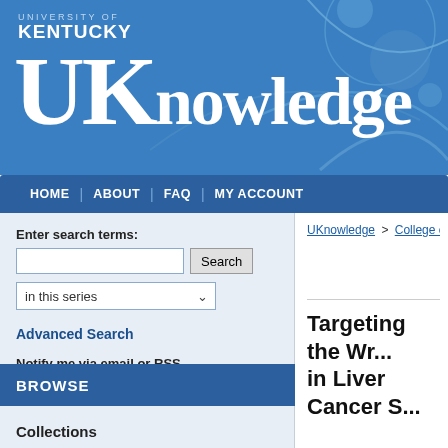[Figure (screenshot): University of Kentucky UKnowledge repository website header with blue gradient background and decorative arc graphics]
UNIVERSITY OF KENTUCKY
UKnowledge
HOME | ABOUT | FAQ | MY ACCOUNT
Enter search terms:
in this series
Advanced Search
Notify me via email or RSS
BROWSE
Collections
UKnowledge > College of Medicin...
Targeting the Wr... in Liver Cancer S...